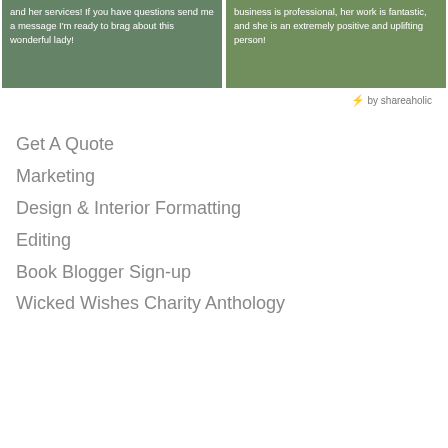[Figure (photo): Left image card with white text overlay: 'and her services! If you have questions send me a message I'm ready to brag about this wonderful lady!']
[Figure (photo): Right image card with white text overlay: 'business is professional, her work is fantastic, and she is an extremely positive and uplifting person!']
⚡ by shareaholic
Get A Quote
Marketing
Design & Interior Formatting
Editing
Book Blogger Sign-up
Wicked Wishes Charity Anthology